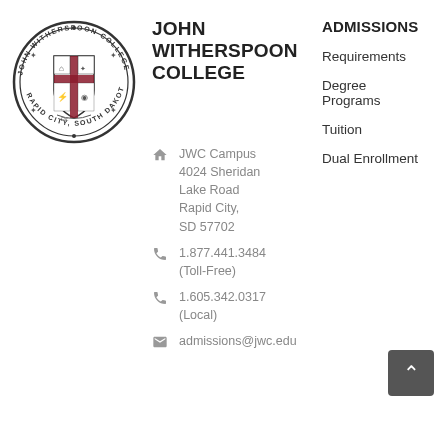[Figure (logo): John Witherspoon College circular seal logo with cross shield, text 'JOHN WITHERSPOON COLLEGE' and 'RAPID CITY, SOUTH DAKOTA']
JOHN WITHERSPOON COLLEGE
JWC Campus 4024 Sheridan Lake Road Rapid City, SD 57702
1.877.441.3484 (Toll-Free)
1.605.342.0317 (Local)
admissions@jwc.edu
ADMISSIONS
Requirements
Degree Programs
Tuition
Dual Enrollment